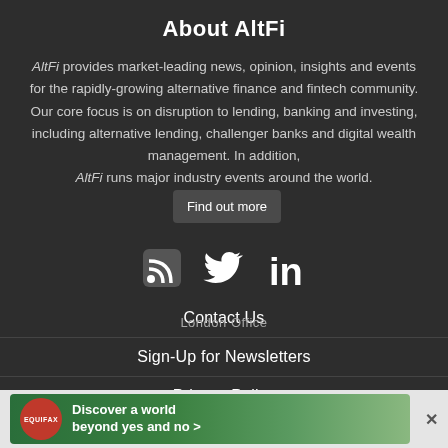About AltFi
AltFi provides market-leading news, opinion, insights and events for the rapidly-growing alternative finance and fintech community. Our core focus is on disruption to lending, banking and investing, including alternative lending, challenger banks and digital wealth management. In addition, AltFi runs major industry events around the world. Find out more
[Figure (infographic): Social media icons: RSS feed, Twitter bird, LinkedIn 'in' logo]
Contact Us
Sign-Up for Newsletters
Privacy Policy
London Office
[Figure (photo): Equifax advertisement banner: 'Discover a world beyond yes and no >' with Equifax red circle logo and photo of hands holding coins/seeds on green background]